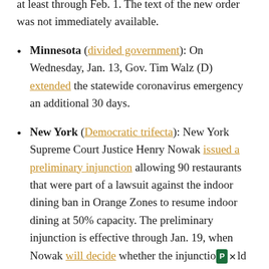at least through Feb. 1. The text of the new order was not immediately available.
Minnesota (divided government): On Wednesday, Jan. 13, Gov. Tim Walz (D) extended the statewide coronavirus emergency an additional 30 days.
New York (Democratic trifecta): New York Supreme Court Justice Henry Nowak issued a preliminary injunction allowing 90 restaurants that were part of a lawsuit against the indoor dining ban in Orange Zones to resume indoor dining at 50% capacity. The preliminary injunction is effective through Jan. 19, when Nowak will decide whether the injunction would be made permanent. New York Supreme Courts